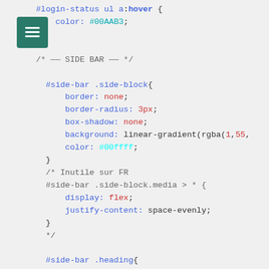[Figure (logo): Green square icon with horizontal lines (menu/document icon)]
#login-status ul a:hover {
    color: #00AAB3;
}

/* —— SIDE BAR —— */

  #side-bar .side-block{
      border: none;
      border-radius: 3px;
      box-shadow: none;
      background: linear-gradient(rgba(1,55,
      color: #00ffff;
  }
  /* Inutile sur FR
  #side-bar .side-block.media > * {
      display: flex;
      justify-content: space-evenly;
  }
  */

  #side-bar .heading{
      color: #ff9944;
      border-bottom: solid 2px #ff9944;
  }